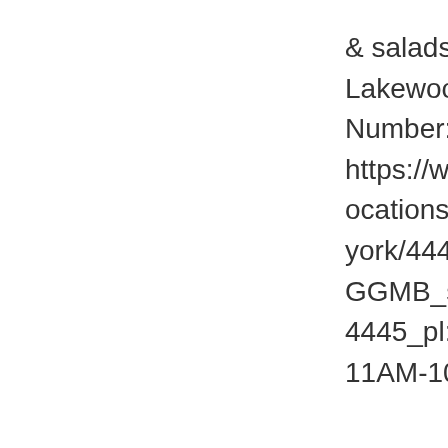& salads. Address: 328 E Fairmount Ave, Lakewood, NY 14750, United States Phone Number: +1 716-763-0000 Website: https://www.olivegarden.com/locations/ny/lakewood/lakewood-new-york/4445?cmpid=br:og_ag:ie_ch:loc_ca:OGGMB_sn:gmb_gt:lakewood-ny-4445_pl:locurl_rd:1787 Store Hours: Sunday: 11AM-10PM | Monday: 11AM-10PM |